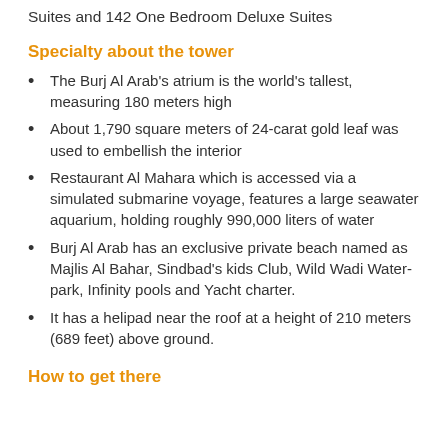Suites and 142 One Bedroom Deluxe Suites
Specialty about the tower
The Burj Al Arab's atrium is the world's tallest, measuring 180 meters high
About 1,790 square meters of 24-carat gold leaf was used to embellish the interior
Restaurant Al Mahara which is accessed via a simulated submarine voyage, features a large seawater aquarium, holding roughly 990,000 liters of water
Burj Al Arab has an exclusive private beach named as Majlis Al Bahar, Sindbad's kids Club, Wild Wadi Water-park, Infinity pools and Yacht charter.
It has a helipad near the roof at a height of 210 meters (689 feet) above ground.
How to get there